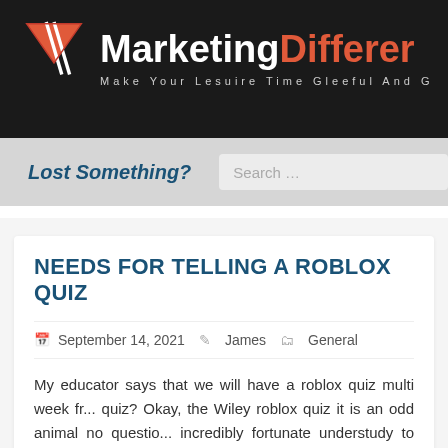[Figure (logo): MarketingDifferent logo with red/dark triangle icon and site name in white and orange on dark background, tagline 'Make Your Lesuire Time Gleeful And G...']
Lost Something?
NEEDS FOR TELLING A ROBLOX QUIZ
September 14, 2021  James  General
My educator says that we will have a roblox quiz multi week fr... quiz? Okay, the Wiley roblox quiz it is an odd animal no questio... incredibly fortunate understudy to have a teacher that even sees